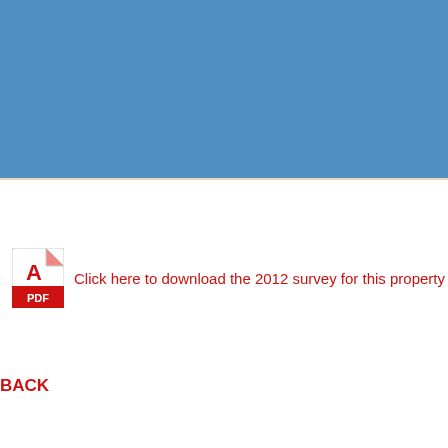[Figure (other): Blue rectangular image block occupying the top portion of the page]
Click here to download the 2012 survey for this property
BACK